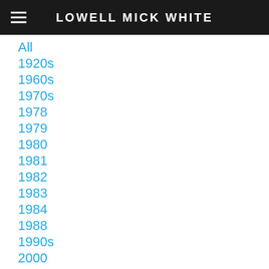LOWELL MICK WHITE
All
1920s
1960s
1970s
1978
1979
1980
1981
1982
1983
1984
1988
1990s
2000
2020
2021